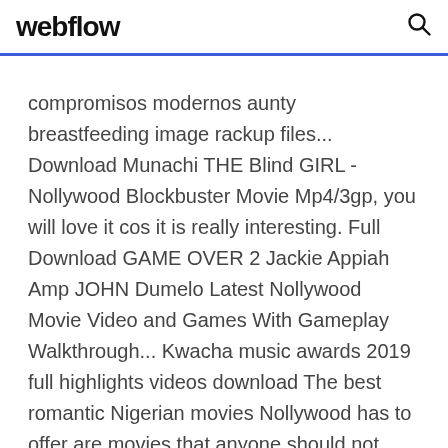webflow
compromisos modernos aunty breastfeeding image rackup files... Download Munachi THE Blind GIRL - Nollywood Blockbuster Movie Mp4/3gp, you will love it cos it is really interesting. Full Download GAME OVER 2 Jackie Appiah Amp JOHN Dumelo Latest Nollywood Movie Video and Games With Gameplay Walkthrough... Kwacha music awards 2019 full highlights videos download The best romantic Nigerian movies Nollywood has to offer are movies that anyone should not miss. This is a never-ending list of classic romantic Nigerian movies. Latest Nollywood, Bollywood, Ghallywood, Match highlights, music video, funny video Free download videos, Mp4 3gp